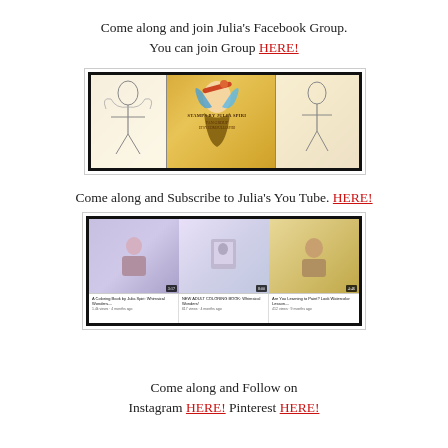Come along and join Julia's Facebook Group.
You can join Group HERE!
[Figure (screenshot): Facebook Group banner for Stamps by Julia Spiri fan group, showing whimsical fairy art on golden steampunk background]
Come along and Subscribe to Julia's You Tube. HERE!
[Figure (screenshot): YouTube channel page showing three video thumbnails: A Coloring Book by Julia Spiri: Whimsical Wonders, NEW ADULT COLORING BOOK: Whimsical Wonders!, Are You Learning to Paint? Look Watercolor Lesson...]
Come along and Follow on Instagram HERE! Pinterest HERE!